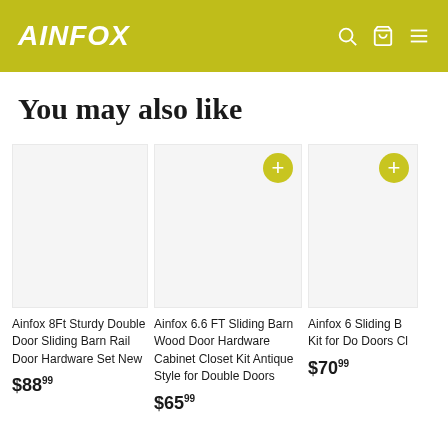AINFOX
You may also like
Ainfox 8Ft Sturdy Double Door Sliding Barn Rail Door Hardware Set New
$88.99
Ainfox 6.6 FT Sliding Barn Wood Door Hardware Cabinet Closet Kit Antique Style for Double Doors
$65.99
Ainfox 6 Sliding B Kit for Do Doors Cl
$70.99